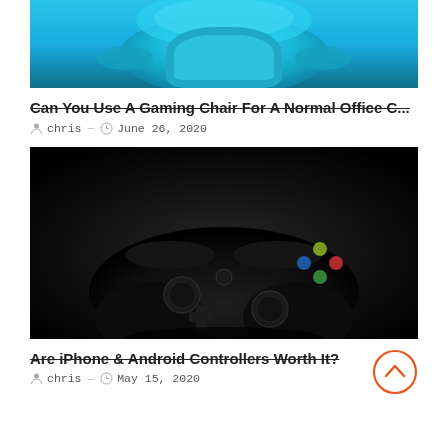[Figure (photo): Blue gaming/office chair photographed from above against a cyan-blue background, cropped to show top portion]
Can You Use A Gaming Chair For A Normal Office C...
chris — June 26, 2020
[Figure (photo): Dark, dramatically lit Xbox controller on a black background, shot from above at an angle]
Are iPhone & Android Controllers Worth It?
chris — May 15, 2020